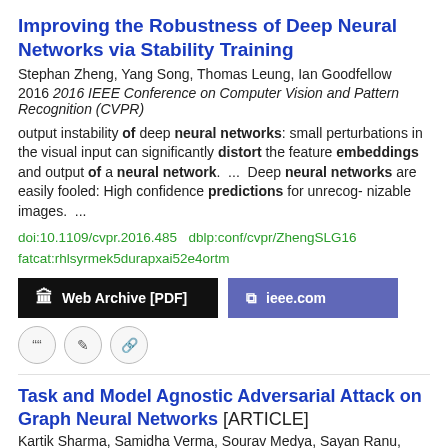Improving the Robustness of Deep Neural Networks via Stability Training
Stephan Zheng, Yang Song, Thomas Leung, Ian Goodfellow
2016 2016 IEEE Conference on Computer Vision and Pattern Recognition (CVPR)
output instability of deep neural networks: small perturbations in the visual input can significantly distort the feature embeddings and output of a neural network.  ...  Deep neural networks are easily fooled: High confidence predictions for unrecog- nizable images.  ...
doi:10.1109/cvpr.2016.485  dblp:conf/cvpr/ZhengSLG16
fatcat:rhlsyrmek5durapxai52e4ortm
[Figure (other): Web Archive [PDF] and ieee.com action buttons]
[Figure (other): Three icon buttons: quote, edit, link]
Task and Model Agnostic Adversarial Attack on Graph Neural Networks [ARTICLE]
Kartik Sharma, Samidha Verma, Sourav Medya, Sayan Ranu, Arnab Bhattacharya
2021 arXiv  PRE-PRINT